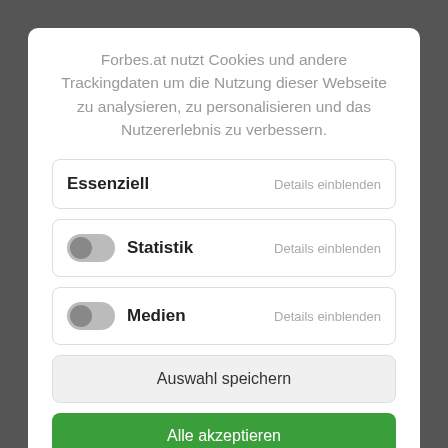Forbes.at nutzt Cookies und andere Trackingdaten um die Nutzung dieser Webseite zu analysieren, zu personalisieren und das Nutzererlebnis zu verbessern.
Essenziell
Details einblenden
Statistik
Details einblenden
Medien
Details einblenden
Auswahl speichern
Alle akzeptieren